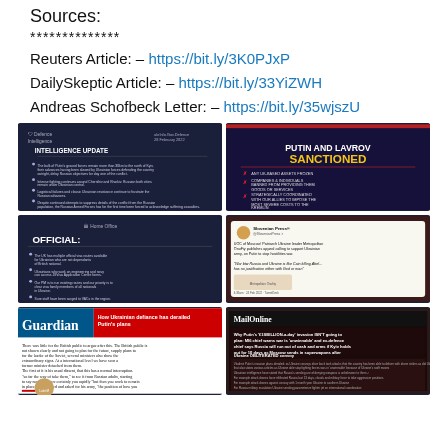Sources:
**************
Reuters Article: – https://bit.ly/3K0PJxP
DailySkeptic Article: – https://bit.ly/33YiZWH
Andreas Schofbeck Letter: – https://bit.ly/35wjszU
[Figure (screenshot): UK Defence Intelligence Update slide with bullet points about Russian forces]
[Figure (screenshot): Putin and Lavrov Sanctioned infographic with red X bullets]
[Figure (screenshot): Home Office OFFICIAL document slide]
[Figure (screenshot): Social media post about Moscow Patriarch Metropolitan OnuFiy appeal]
[Figure (screenshot): Guardian article: How Ukrainian defiance has derailed Putin's plans]
[Figure (screenshot): MailOnline article about Putin's £1SBILLION-a-day invasion]